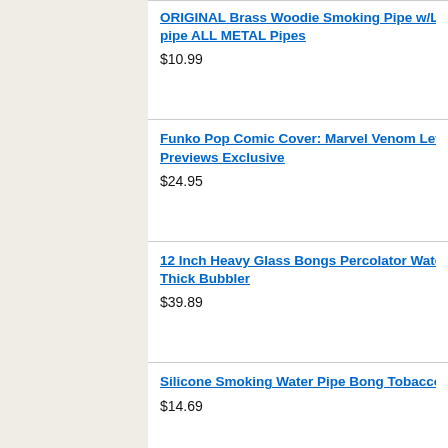ORIGINAL Brass Woodie Smoking Pipe w/Lid Tobacco pipe ALL METAL Pipes
$10.99
Funko Pop Comic Cover: Marvel Venom Lethal Protector Previews Exclusive
$24.95
12 Inch Heavy Glass Bongs Percolator Water Pipe Filt Thick Bubbler
$39.89
Silicone Smoking Water Pipe Bong Tobacco Bubbler G
$14.69